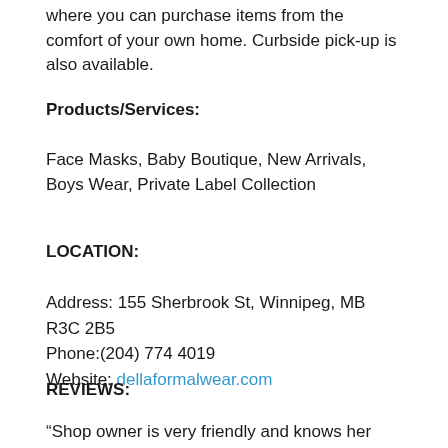where you can purchase items from the comfort of your own home. Curbside pick-up is also available.
Products/Services:
Face Masks, Baby Boutique, New Arrivals, Boys Wear, Private Label Collection
LOCATION:
Address: 155 Sherbrook St, Winnipeg, MB R3C 2B5
Phone:(204) 774 4019
Website: dellaformalwear.com
REVIEWS:
“Shop owner is very friendly and knows her stuff. She was patient and took the time to show me all the different outfits